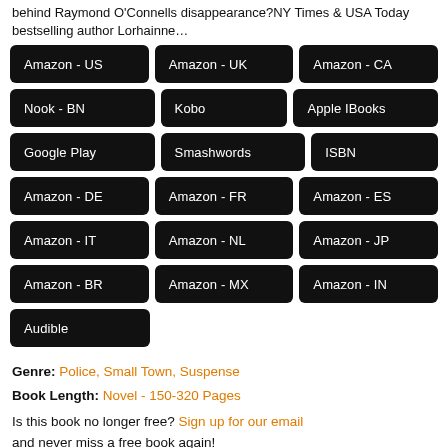behind Raymond O'Connells disappearance?NY Times & USA Today bestselling author Lorhainne…
Amazon - US
Amazon - UK
Amazon - CA
Nook - BN
Kobo
Apple IBooks
Google Play
Smashwords
ISBN
Amazon - DE
Amazon - FR
Amazon - ES
Amazon - IT
Amazon - NL
Amazon - JP
Amazon - BR
Amazon - MX
Amazon - IN
Audible
Genre: Police, Small Town, Suspense
Book Length: Novel - 150-320 Pages
Is this book no longer free? Sign up for our email and never miss a free book again!